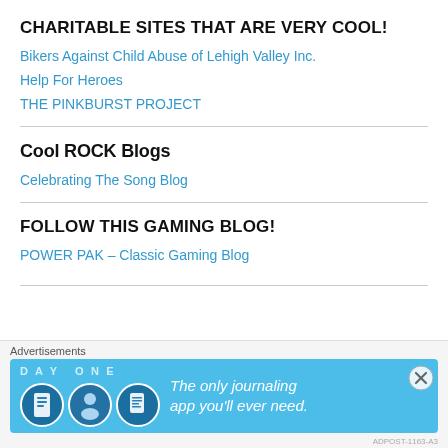CHARITABLE SITES THAT ARE VERY COOL!
Bikers Against Child Abuse of Lehigh Valley Inc.
Help For Heroes
THE PINKBURST PROJECT
Cool ROCK Blogs
Celebrating The Song Blog
FOLLOW THIS GAMING BLOG!
POWER PAK – Classic Gaming Blog
Advertisements
[Figure (illustration): Day One journaling app advertisement banner with blue background, app icons and text 'The only journaling app you'll ever need.']